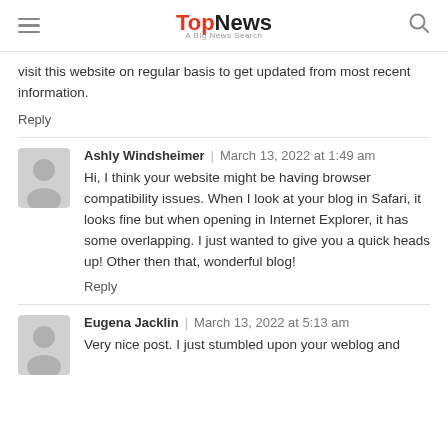TopNews | A Big News Search
visit this website on regular basis to get updated from most recent information.
Reply
Ashly Windsheimer | March 13, 2022 at 1:49 am
Hi, I think your website might be having browser compatibility issues. When I look at your blog in Safari, it looks fine but when opening in Internet Explorer, it has some overlapping. I just wanted to give you a quick heads up! Other then that, wonderful blog!
Reply
Eugena Jacklin | March 13, 2022 at 5:13 am
Very nice post. I just stumbled upon your weblog and